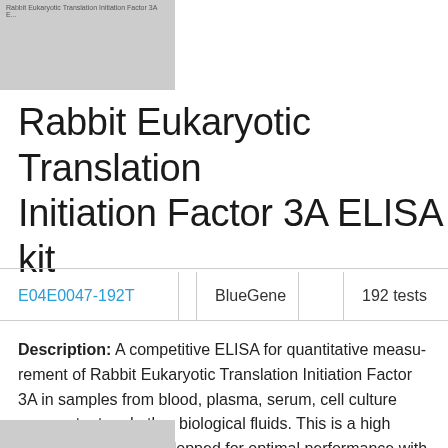[Figure (photo): Small product thumbnail image with text overlay showing product name]
Rabbit Eukaryotic Translation Initiation Factor 3A ELISA kit
| E04E0047-192T | BlueGene | 192 tests |  |
| --- | --- | --- | --- |
Description: A competitive ELISA for quantitative measurement of Rabbit Eukaryotic Translation Initiation Factor 3A in samples from blood, plasma, serum, cell culture supernatant and other biological fluids. This is a high quality ELISA kit developped for optimal performance with samples from the particular species.